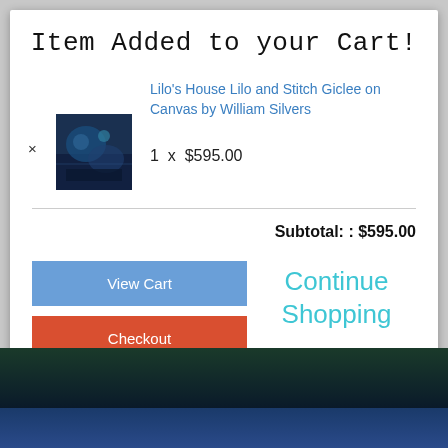Item Added to your Cart!
Lilo's House Lilo and Stitch Giclee on Canvas by William Silvers
1 x $595.00
Subtotal: : $595.00
View Cart
Continue Shopping
Checkout
[Figure (screenshot): E-commerce modal popup showing item added to cart notification on a website]